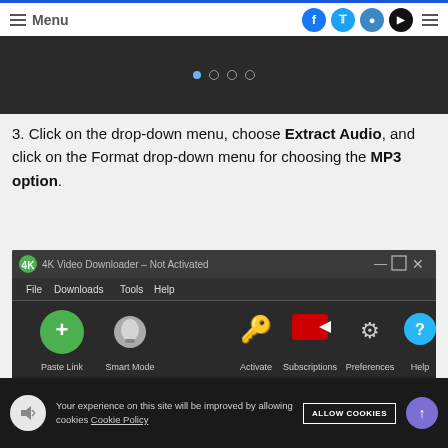≡ Menu | social icons: Facebook, Twitter, Instagram, YouTube
[Figure (screenshot): Dark banner area with navigation dots (one filled, three empty)]
3. Click on the drop-down menu, choose Extract Audio, and click on the Format drop-down menu for choosing the MP3 option.
[Figure (screenshot): 4K Video Downloader – Not Activated application window showing toolbar with Paste Link, Smart Mode, Activate, Subscriptions, Preferences, Help buttons, and a Download Clip dialog at the bottom]
Your experience on this site will be improved by allowing cookies Cookie Policy ALLOW COOKIES